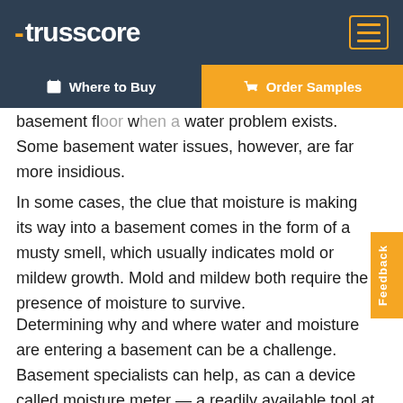trusscore
basement fl[oor] w[hen a] water problem exists. Some basement water issues, however, are far more insidious.
In some cases, the clue that moisture is making its way into a basement comes in the form of a musty smell, which usually indicates mold or mildew growth. Mold and mildew both require the presence of moisture to survive.
Determining why and where water and moisture are entering a basement can be a challenge. Basement specialists can help, as can a device called moisture meter — a readily available tool at hardware stores, used to take measurements at various locations and identify problem areas.